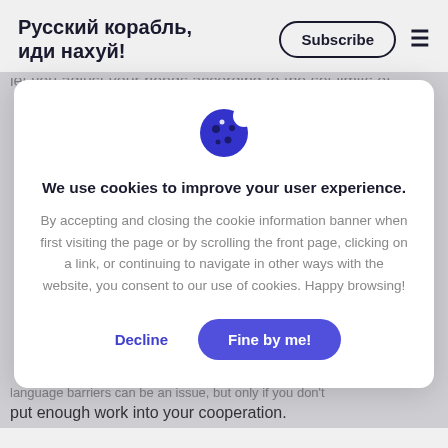Русский корабль, иди нахуй!
Subscribe
let you adjust your needs according to the set limits of
[Figure (illustration): Cookie emoji icon (blue cookie with dark spots and a white bite)]
We use cookies to improve your user experience.
By accepting and closing the cookie information banner when first visiting the page or by scrolling the front page, clicking on a link, or continuing to navigate in other ways with the website, you consent to our use of cookies. Happy browsing!
Decline
Fine by me!
language barriers can be an issue, but only if you don't
put enough work into your cooperation.